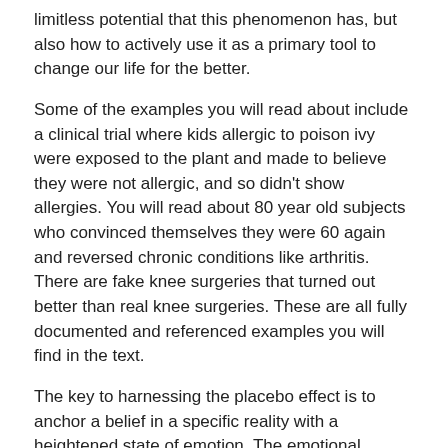limitless potential that this phenomenon has, but also how to actively use it as a primary tool to change our life for the better.
Some of the examples you will read about include a clinical trial where kids allergic to poison ivy were exposed to the plant and made to believe they were not allergic, and so didn't show allergies. You will read about 80 year old subjects who convinced themselves they were 60 again and reversed chronic conditions like arthritis. There are fake knee surgeries that turned out better than real knee surgeries. These are all fully documented and referenced examples you will find in the text.
The key to harnessing the placebo effect is to anchor a belief in a specific reality with a heightened state of emotion. The emotional component makes it real to the body. This is where a lot of 'affirmation' and other processes fail, in that they don't convince the body that what we are saying is real. The book goes through the